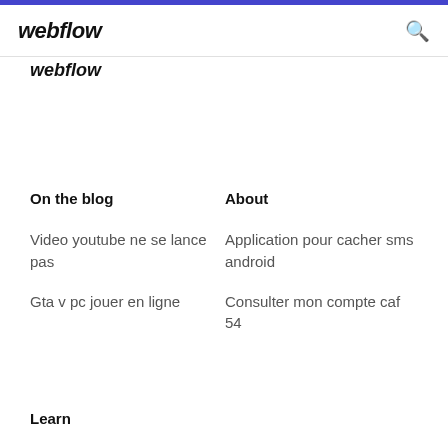webflow
webflow
On the blog
About
Video youtube ne se lance pas
Application pour cacher sms android
Gta v pc jouer en ligne
Consulter mon compte caf 54
Learn